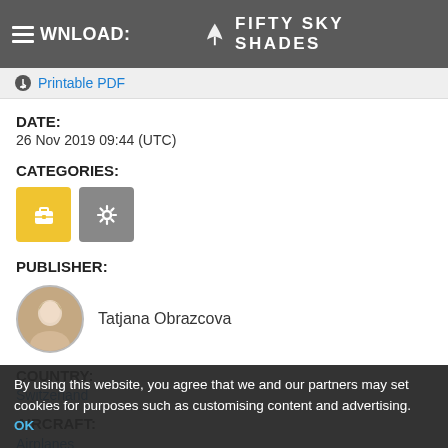DOWNLOAD: FIFTY SKY SHADES
Printable PDF
DATE:
26 Nov 2019 09:44 (UTC)
CATEGORIES:
[Figure (illustration): Two category icons: a yellow square with a briefcase/suitcase icon, and a gray square with a settings/gear icon]
PUBLISHER:
[Figure (photo): Circular avatar photo of Tatjana Obrazcova, a woman with blonde hair]
Tatjana Obrazcova
COUNTRY:
Switzerland
AIRCRAFT:
Airplanes
By using this website, you agree that we and our partners may set cookies for purposes such as customising content and advertising. OK